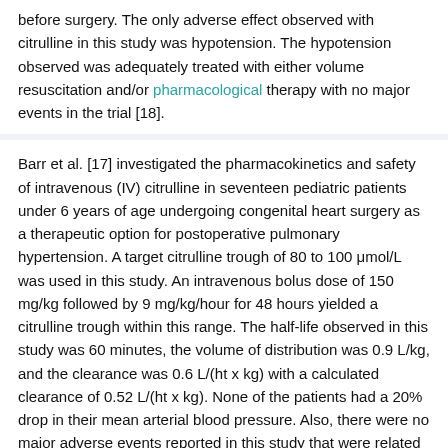before surgery. The only adverse effect observed with citrulline in this study was hypotension. The hypotension observed was adequately treated with either volume resuscitation and/or pharmacological therapy with no major events in the trial [18].
Barr et al. [17] investigated the pharmacokinetics and safety of intravenous (IV) citrulline in seventeen pediatric patients under 6 years of age undergoing congenital heart surgery as a therapeutic option for postoperative pulmonary hypertension. A target citrulline trough of 80 to 100 μmol/L was used in this study. An intravenous bolus dose of 150 mg/kg followed by 9 mg/kg/hour for 48 hours yielded a citrulline trough within this range. The half-life observed in this study was 60 minutes, the volume of distribution was 0.9 L/kg, and the clearance was 0.6 L/(ht x kg) with a calculated clearance of 0.52 L/(ht x kg). None of the patients had a 20% drop in their mean arterial blood pressure. Also, there were no major adverse events reported in this study that were related to the IV citrulline administration [17]. The IV formulation used in this study was an investigational drug that was prepared as a 50-mg/mL isotonic solution compounded with distilled water